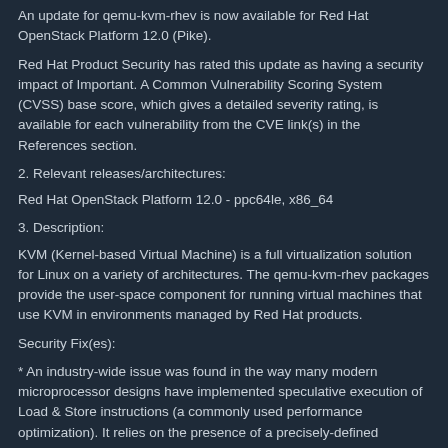An update for qemu-kvm-rhev is now available for Red Hat OpenStack Platform 12.0 (Pike).
Red Hat Product Security has rated this update as having a security impact of Important. A Common Vulnerability Scoring System (CVSS) base score, which gives a detailed severity rating, is available for each vulnerability from the CVE link(s) in the References section.
2. Relevant releases/architectures:
Red Hat OpenStack Platform 12.0 - ppc64le, x86_64
3. Description:
KVM (Kernel-based Virtual Machine) is a full virtualization solution for Linux on a variety of architectures. The qemu-kvm-rhev packages provide the user-space component for running virtual machines that use KVM in environments managed by Red Hat products.
Security Fix(es):
* An industry-wide issue was found in the way many modern microprocessor designs have implemented speculative execution of Load & Store instructions (a commonly used performance optimization). It relies on the presence of a precisely-defined instruction sequence in the privileged code as well as the fact that memory read from address to which a recent memory write has occurred may see an older value and subsequently cause an update into the microprocessor's data cache even for speculatively executed instructions that never actually commit (retire). As a result, an unprivileged attacker could use this flaw to read privileged memory by conducting targeted cache side-channel attacks. (CVE-2018-3639)
Note: This is the qemu-kvm-rhev side of the CVE-2018-3639 mitigation.